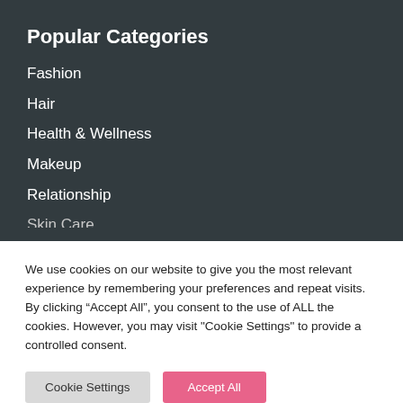Popular Categories
Fashion
Hair
Health & Wellness
Makeup
Relationship
Skin Care
We use cookies on our website to give you the most relevant experience by remembering your preferences and repeat visits. By clicking “Accept All”, you consent to the use of ALL the cookies. However, you may visit "Cookie Settings" to provide a controlled consent.
Cookie Settings | Accept All